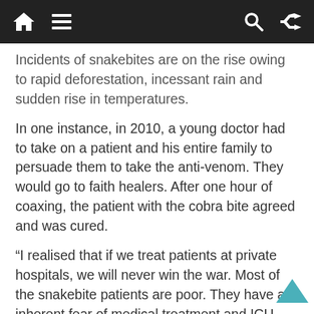[Navigation bar with home, menu, search, and shuffle icons]
Incidents of snakebites are on the rise owing to rapid deforestation, incessant rain and sudden rise in temperatures.
In one instance, in 2010, a young doctor had to take on a patient and his entire family to persuade them to take the anti-venom. They would go to faith healers. After one hour of coaxing, the patient with the cobra bite agreed and was cured.
“I realised that if we treat patients at private hospitals, we will never win the war. Most of the snakebite patients are poor. They have an inherent fear of medical treatment and ICU cost. A dose of anti-venom costs Rs 450 and a patient needs at least 10 such doses. We knew we had to treat them at the CHC without the ICU,” said Dr Giri.